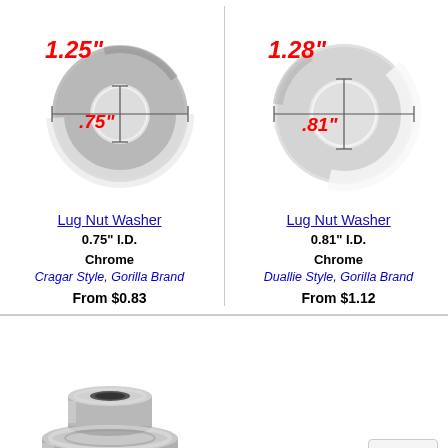[Figure (photo): Lug nut washer photo with outer dimension 1.25 inches and inner dimension 0.75 inches, chrome Cragar style]
[Figure (photo): Lug nut washer photo with outer dimension 1.28 inches and inner dimension 0.81 inches, chrome Duallie style]
Lug Nut Washer
0.75" I.D.
Chrome
Cragar Style, Gorilla Brand
From $0.83
Lug Nut Washer
0.81" I.D.
Chrome
Duallie Style, Gorilla Brand
From $1.12
[Figure (photo): Chrome lug nut with flange, 3D view]
TOP